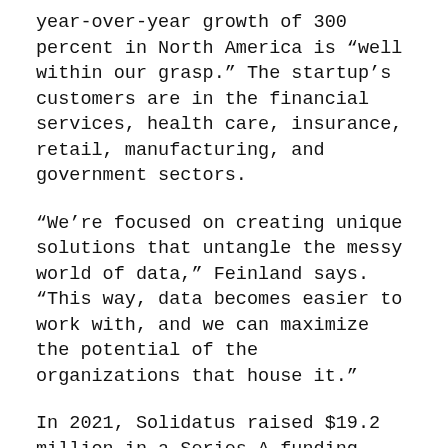year-over-year growth of 300 percent in North America is “well within our grasp.” The startup’s customers are in the financial services, health care, insurance, retail, manufacturing, and government sectors.
“We’re focused on creating unique solutions that untangle the messy world of data,” Feinland says. “This way, data becomes easier to work with, and we can maximize the potential of the organizations that house it.”
In 2021, Solidatus raised $19.2 million in a Series A funding round led by AlbionVC with participation from two customers, Citi and HSBC. Much of that money is being spent on the company’s North American expansion.
“We are at a point in the company’s progress and